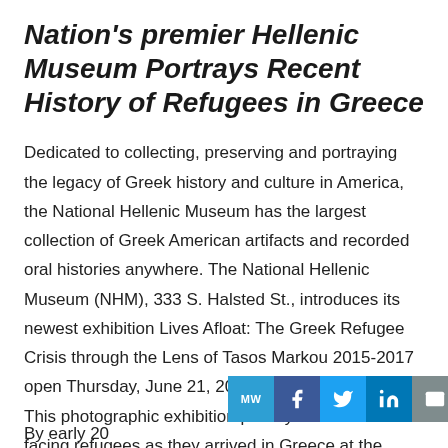Nation's premier Hellenic Museum Portrays Recent History of Refugees in Greece
Dedicated to collecting, preserving and portraying the legacy of Greek history and culture in America, the National Hellenic Museum has the largest collection of Greek American artifacts and recorded oral histories anywhere. The National Hellenic Museum (NHM), 333 S. Halsted St., introduces its newest exhibition Lives Afloat: The Greek Refugee Crisis through the Lens of Tasos Markou 2015-2017 open Thursday, June 21, 2018 through spring 2019. This photographic exhibition portrays the realities facing refugees as they arrived in Greece at the height of the Greek Refugee Crisis.
By early 20...